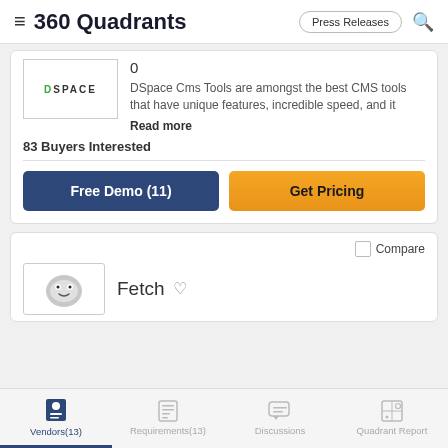360 Quadrants
0
DSpace Cms Tools are amongst the best CMS tools that have unique features, incredible speed, and it
Read more
83 Buyers Interested
Free Demo (11)
Get Pricing
Compare
Fetch
Vendors(13)  Requirements(13)  Discussions  Quadrant Report